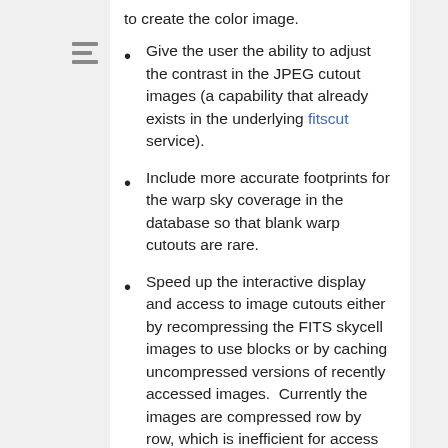to create the color image.
Give the user the ability to adjust the contrast in the JPEG cutout images (a capability that already exists in the underlying fitscut service).
Include more accurate footprints for the warp sky coverage in the database so that blank warp cutouts are rare.
Speed up the interactive display and access to image cutouts either by recompressing the FITS skycell images to use blocks or by caching uncompressed versions of recently accessed images.  Currently the images are compressed row by row, which is inefficient for access